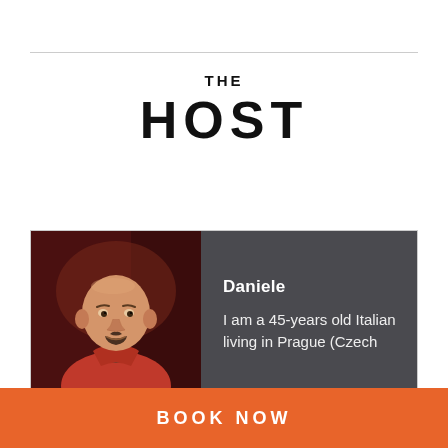THE HOST
[Figure (photo): Profile photo of Daniele, a bald middle-aged man with a goatee wearing a red shirt, against a dark background. Next to the photo is a dark grey panel with his name 'Daniele' in bold white and text 'I am a 45-years old Italian living in Prague (Czech'. Below the card is a 'Contact Host' button.]
Contact Host
BOOK NOW